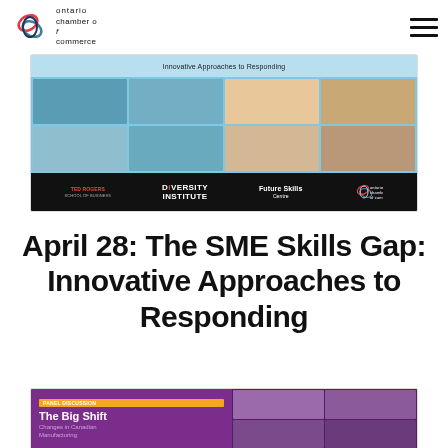ontario chamber of commerce
[Figure (screenshot): Webinar screenshot titled 'Innovative Approaches to Responding' showing panelists in a video grid with logos below including TED Rogers School of Business, Diversity Institute, Future Skills Centre, and Ontario Chamber of Commerce]
April 28: The SME Skills Gap: Innovative Approaches to Responding
[Figure (screenshot): Panel discussion screenshot titled 'The Big Shift: Changes in Canadian Manufacturing' with purple background and video grid of panelists]